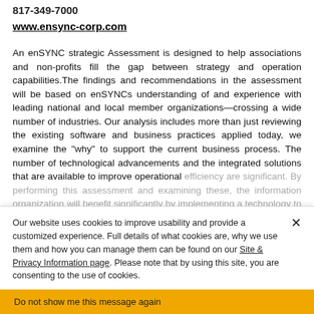817-349-7000
www.ensync-corp.com
An enSYNC strategic Assessment is designed to help associations and non-profits fill the gap between strategy and operation capabilities.The findings and recommendations in the assessment will be based on enSYNCs understanding of and experience with leading national and local member organizations—crossing a wide number of industries. Our analysis includes more than just reviewing the existing software and business practices applied today, we examine the "why" to support the current business process. The number of technological advancements and the integrated solutions that are available to improve operational efficiency are significant. By performing this assessment and examining these, the information organization will benefit significantly by implementing a technology to establish an agile solution that will accommodate present day technology requirements.
Our website uses cookies to improve usability and provide a customized experience. Full details of what cookies are, why we use them and how you can manage them can be found on our Site & Privacy Information page. Please note that by using this site, you are consenting to the use of cookies.
Do not show me this message again